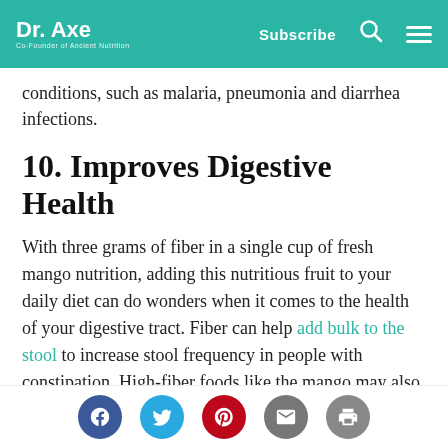Dr. Axe | Co-Founder of Ancient Nutrition | Subscribe
conditions, such as malaria, pneumonia and diarrhea infections.
10. Improves Digestive Health
With three grams of fiber in a single cup of fresh mango nutrition, adding this nutritious fruit to your daily diet can do wonders when it comes to the health of your digestive tract. Fiber can help add bulk to the stool to increase stool frequency in people with constipation. High-fiber foods like the mango may also help protect against other gastrointestinal conditions, including hemorrhoids,
Social share icons: Facebook, Twitter, Pinterest, Email, Print